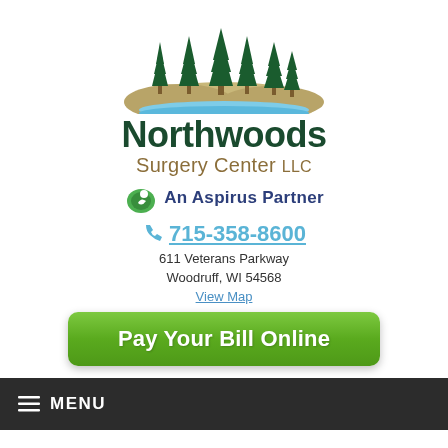[Figure (logo): Northwoods Surgery Center LLC logo with pine trees and mountain/lake illustration, An Aspirus Partner]
715-358-8600
611 Veterans Parkway
Woodruff, WI 54568
View Map
Pay Your Bill Online
MENU
Instructions for After Surgery